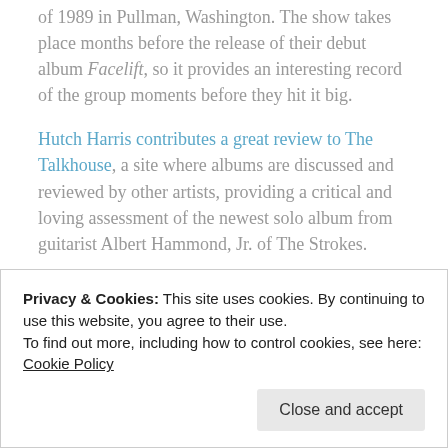of 1989 in Pullman, Washington. The show takes place months before the release of their debut album Facelift, so it provides an interesting record of the group moments before they hit it big.
Hutch Harris contributes a great review to The Talkhouse, a site where albums are discussed and reviewed by other artists, providing a critical and loving assessment of the newest solo album from guitarist Albert Hammond, Jr. of The Strokes.
And finally, it...
Privacy & Cookies: This site uses cookies. By continuing to use this website, you agree to their use.
To find out more, including how to control cookies, see here: Cookie Policy